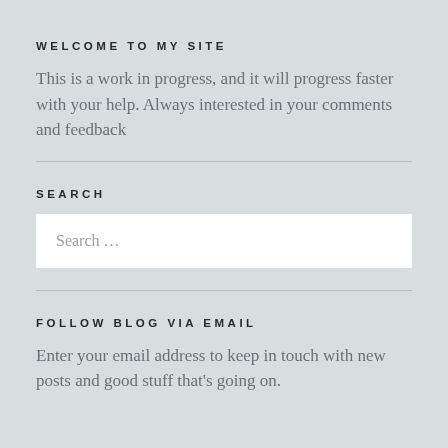WELCOME TO MY SITE
This is a work in progress, and it will progress faster with your help. Always interested in your comments and feedback
SEARCH
Search …
FOLLOW BLOG VIA EMAIL
Enter your email address to keep in touch with new posts and good stuff that's going on.